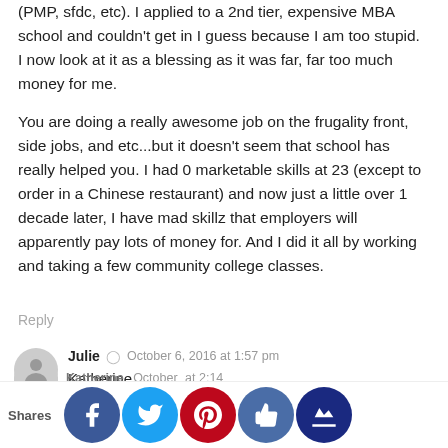(PMP, sfdc, etc). I applied to a 2nd tier, expensive MBA school and couldn't get in I guess because I am too stupid. I now look at it as a blessing as it was far, far too much money for me.
You are doing a really awesome job on the frugality front, side jobs, and etc...but it doesn't seem that school has really helped you. I had 0 marketable skills at 23 (except to order in a Chinese restaurant) and now just a little over 1 decade later, I have mad skillz that employers will apparently pay lots of money for. And I did it all by working and taking a few community college classes.
Reply
Julie  ⏱  October 6, 2016 at 1:57 pm
Katherine,
I would love to speak with you further regarding your journey, if that is something you would be open to.
Reply
Shares